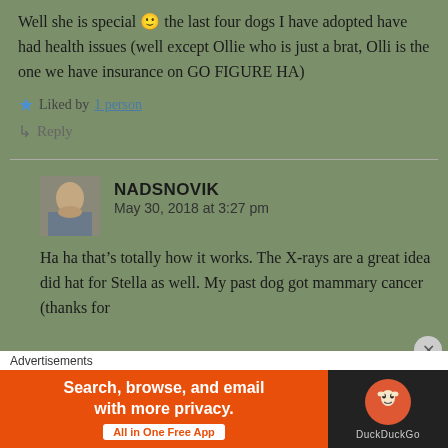Well she is special 🙂 the last four dogs I have adopted have had health issues (well except Ollie who is just a brat, Olli is the one we have insurance on GO FIGURE HA)
★ Liked by 1 person
↵ Reply
NADSNOVIK
May 30, 2018 at 3:27 pm
Ha ha that's totally how it works. The X-rays are a great idea did hat for Stella as well. My past dog got mammary cancer (thanks for
Advertisements
Search, browse, and email with more privacy. All in One Free App
[Figure (logo): DuckDuckGo logo — orange duck icon on dark background with 'DuckDuckGo' text]